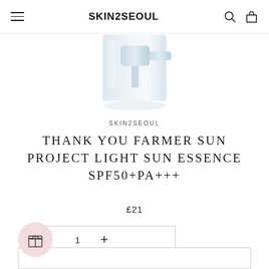SKIN2SEOUL
[Figure (photo): Partial product image showing the bottom of a silver/white pump dispenser bottle on a white background]
SKIN2SEOUL
THANK YOU FARMER SUN PROJECT LIGHT SUN ESSENCE SPF50+PA+++
£21
1 +